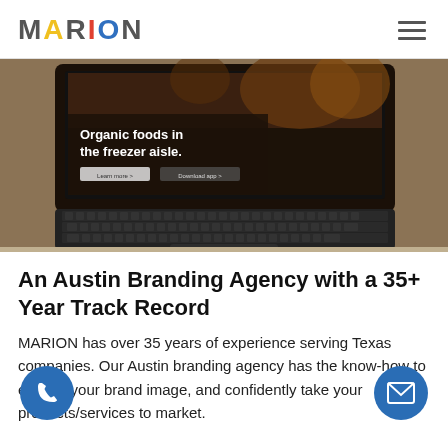MARION
[Figure (photo): A MacBook laptop photographed from above and to the side, displaying a website with text 'Organic foods in the freezer aisle.' on a dark background with food images. The keyboard is prominently visible in the foreground.]
An Austin Branding Agency with a 35+ Year Track Record
MARION has over 35 years of experience serving Texas companies. Our Austin branding agency has the know-how to elevate your brand image, and confidently take your products/services to market. After you're happy with your brand